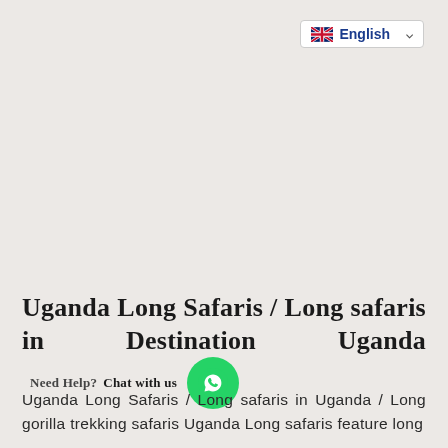[Figure (screenshot): Language selector widget showing UK flag and 'English' text with dropdown chevron]
Uganda Long Safaris / Long safaris in Destination Uganda
Uganda Long Safaris / Long safaris in Uganda / Long gorilla trekking safaris Uganda Long safaris feature long